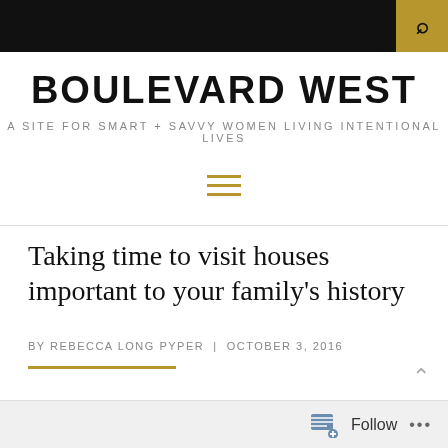BOULEVARD WEST — A SITE FOR SMART + SAVVY WOMEN LIVING INTENTIONAL LIVES
Taking time to visit houses important to your family's history
BY REBECCA LONG PYPER | OCTOBER 3, 2016
Follow